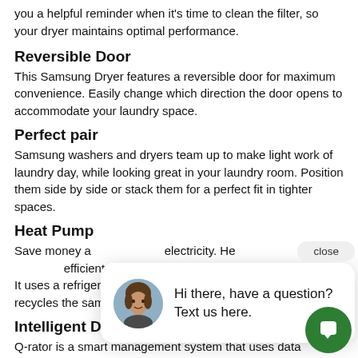you a helpful reminder when it's time to clean the filter, so your dryer maintains optimal performance.
Reversible Door
This Samsung Dryer features a reversible door for maximum convenience. Easily change which direction the door opens to accommodate your laundry space.
Perfect pair
Samsung washers and dryers team up to make light work of laundry day, while looking great in your laundry room. Position them side by side or stack them for a perfect fit in tighter spaces.
Heat Pump
Save money and electricity. Heat pump is efficient, cost-effective. It uses a refrigerant instead of electricity to heat the air and recycles the same air to avoid wasting energy.
Intelligent Drying
Q-rator is a smart management system that uses data captured during user interactions* to help you do laundry
[Figure (screenshot): Chat popup with avatar photo of a woman, text 'Hi there, have a question? Text us here.' and a close button, plus a green chat icon button.]